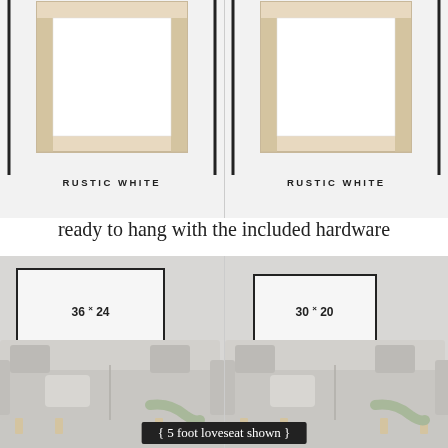[Figure (illustration): Two white/rustic picture frames shown from the front against white backgrounds, side by side. Left frame labeled RUSTIC WHITE, right frame labeled RUSTIC WHITE.]
ready to hang with the included hardware
[Figure (illustration): Two room mockup photos side by side showing framed prints above sofas. Left mockup shows a 36x24 frame, right shows a 30x20 frame. Both above the same grey sofa style. Caption: { 5 foot loveseat shown }]
{ 5 foot loveseat shown }